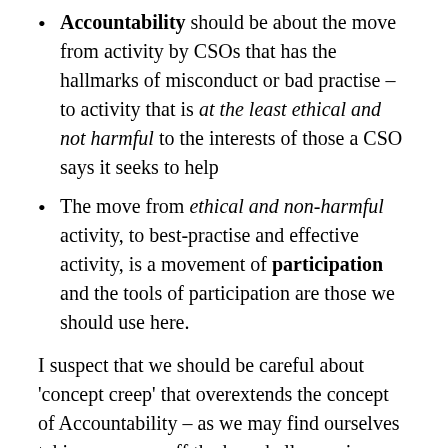Accountability should be about the move from activity by CSOs that has the hallmarks of misconduct or bad practise – to activity that is at the least ethical and not harmful to the interests of those a CSO says it seeks to help
The move from ethical and non-harmful activity, to best-practise and effective activity, is a movement of participation and the tools of participation are those we should use here.
I suspect that we should be careful about 'concept creep' that overextends the concept of Accountability – as we may find ourselves taking our eyes off the key challenges in